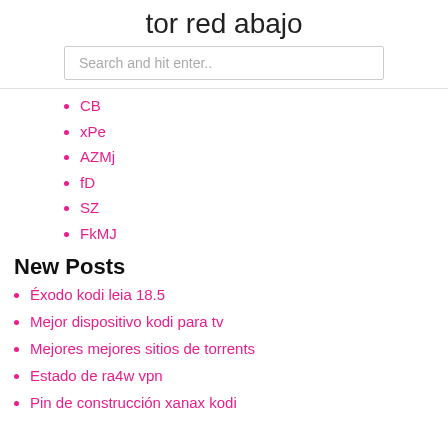tor red abajo
Search and hit enter..
CB
xPe
AZMj
fD
SZ
FkMJ
New Posts
Éxodo kodi leia 18.5
Mejor dispositivo kodi para tv
Mejores mejores sitios de torrents
Estado de ra4w vpn
Pin de construcción xanax kodi